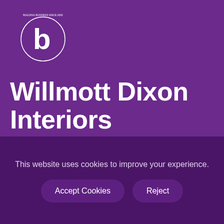[Figure (logo): Circular 'b' logo with ring, white on purple background, with small text around the ring]
Willmott Dixon Interiors announced as preferred partner
This website uses cookies to improve your experience.
Accept Cookies   Reject